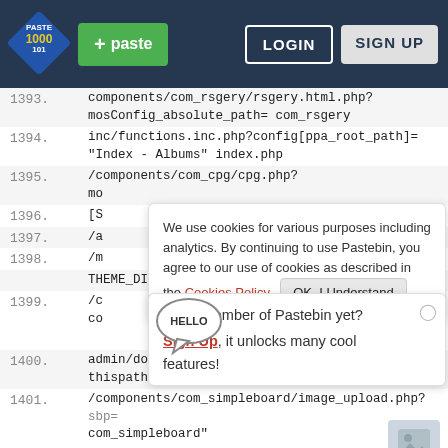[Figure (screenshot): Pastebin website navigation bar with logo, green paste button, LOGIN and SIGN UP buttons on dark blue background]
1393. components/com_rsgery/rsgery.html.php?mosConfig_absolute_path= com_rsgery
1394. inc/functions.inc.php?config[ppa_root_path]= "Index - Albums" index.php
1395. /components/com_cpg/cpg.php? mo
1396. [S
1397. /a
1398. /m
THEME_DIR= connermine
1399. /c   co
1400. admin/doeditconfig.php? thispath=../includes&config[path]= "admin"
1401. /components/com_simpleboard/image_upload.php?sbp= com_simpleboard"
1402. components/com_simpleboard/image_upload.php?sbp=
We use cookies for various purposes including analytics. By continuing to use Pastebin, you agree to our use of cookies as described in the Cookies Policy. OK, I Understand
Not a member of Pastebin yet? Sign Up, it unlocks many cool features!